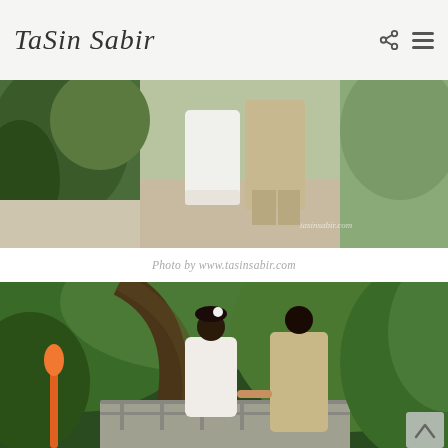TaSin Sabir
[Figure (photo): Wedding couple standing outdoors, lower body view. Bride in short white lace dress and groom in tan/khaki suit, standing in garden area with watermark 'tasinsabir.com']
Photo by www.tasinsabir.com
[Figure (photo): Wedding couple in lush green garden setting. Bride in white lace dress with black fascinator and groom in tan suit holding hands on a walkway surrounded by tropical plants and trees.]